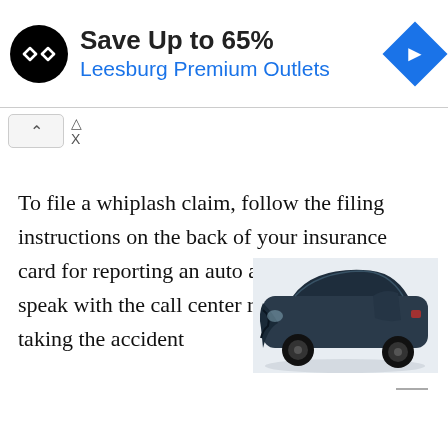[Figure (screenshot): Advertisement banner: circular black logo with double arrow icon, text 'Save Up to 65%' in bold and 'Leesburg Premium Outlets' in blue, blue diamond navigation icon on the right]
[Figure (photo): Wrecked dark-colored SUV with heavily damaged front end, doors open, after a severe auto accident]
To file a whiplash claim, follow the filing instructions on the back of your insurance card for reporting an auto accident. When you speak with the call center representative taking the accident